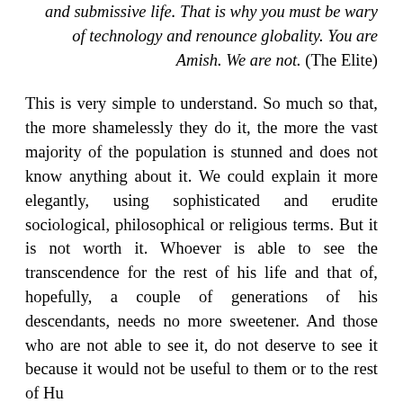and submissive life. That is why you must be wary of technology and renounce globality. You are Amish. We are not. (The Elite)
This is very simple to understand. So much so that, the more shamelessly they do it, the more the vast majority of the population is stunned and does not know anything about it. We could explain it more elegantly, using sophisticated and erudite sociological, philosophical or religious terms. But it is not worth it. Whoever is able to see the transcendence for the rest of his life and that of, hopefully, a couple of generations of his descendants, needs no more sweetener. And those who are not able to see it, do not deserve to see it because it would not be useful to them or to the rest of Hu...